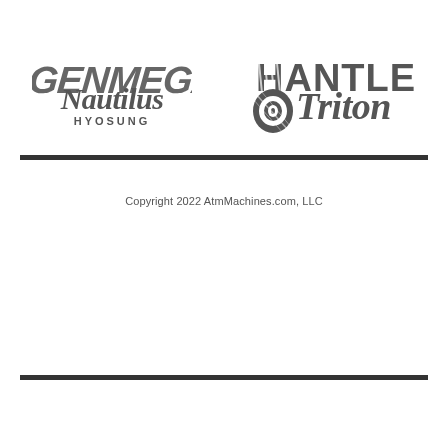[Figure (logo): Genmega logo - stylized bold italic all-caps text in gray]
[Figure (logo): Hantle logo - bold uppercase text with diagonal line motif in gray]
[Figure (logo): Nautilus Hyosung logo - italic serif Nautilus text above small-caps HYOSUNG in gray]
[Figure (logo): Triton logo - italic serif text with nautilus shell icon in gray]
Copyright 2022 AtmMachines.com, LLC